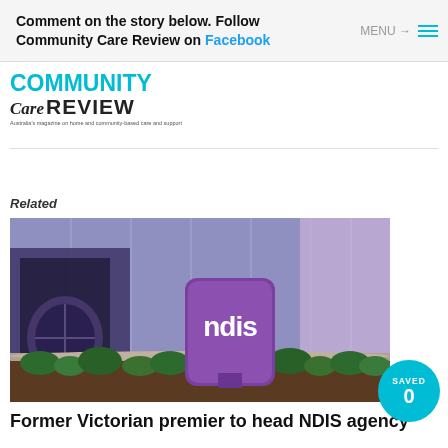Comment on the story below. Follow Community Care Review on Facebook
[Figure (logo): Community Care Review logo — COMMUNITY CARE REVIEW with tagline: Australia's magazine on home and community based care and support]
Related
[Figure (photo): NDIS building exterior with large purple NDIS sign/monument in landscaped garden bed, purple facade in background]
Former Victorian premier to head NDIS agency